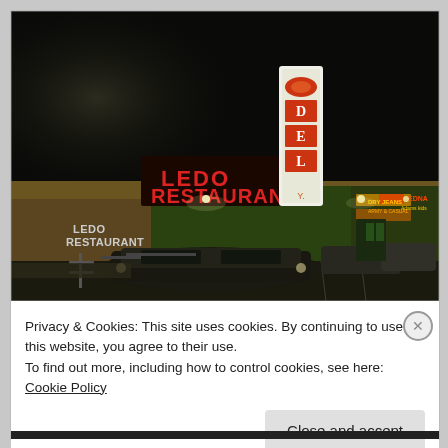[Figure (photo): Night photograph of Ledo Restaurant. A strip mall building with red illuminated 'LEDO RESTAURANT' sign on the facade and smaller 'LEDO RESTAURANT' text. A tall vertical illuminated sign tower stands prominently. Parking lot in foreground with cars. Dark night sky.]
Privacy & Cookies: This site uses cookies. By continuing to use this website, you agree to their use.
To find out more, including how to control cookies, see here: Cookie Policy
Close and accept